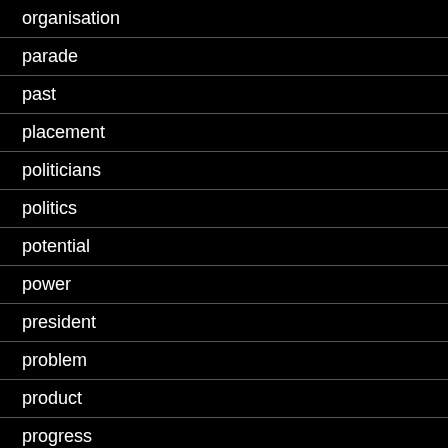organisation
parade
past
placement
politicians
politics
potential
power
president
problem
product
progress
pronunciation